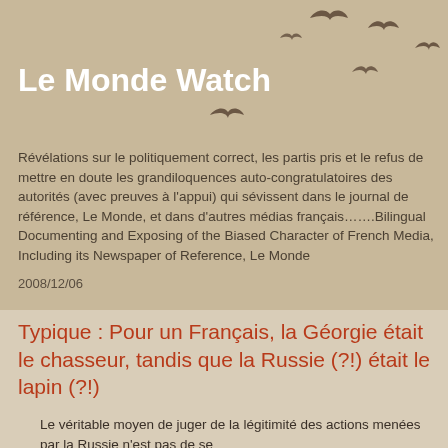[Figure (illustration): Silhouettes of birds in flight, brown/dark color, scattered across the upper right portion of the beige/tan header area]
Le Monde Watch
Révélations sur le politiquement correct, les partis pris et le refus de mettre en doute les grandiloquences auto-congratulatoires des autorités (avec preuves à l'appui) qui sévissent dans le journal de référence, Le Monde, et dans d'autres médias français…….Bilingual Documenting and Exposing of the Biased Character of French Media, Including its Newspaper of Reference, Le Monde
2008/12/06
Typique : Pour un Français, la Géorgie était le chasseur, tandis que la Russie (?!) était le lapin (?!)
Le véritable moyen de juger de la légitimité des actions menées par la Russie n'est pas de se